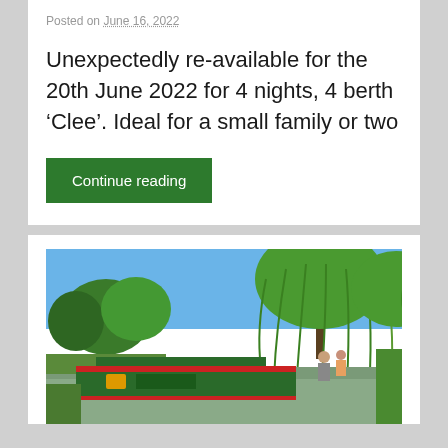Posted on June 16, 2022
Unexpectedly re-available for the 20th June 2022 for 4 nights, 4 berth ‘Clee’. Ideal for a small family or two
Continue reading
[Figure (photo): A narrowboat on a canal with two people standing on the stern, surrounded by weeping willow trees and green vegetation on a sunny day with blue sky.]